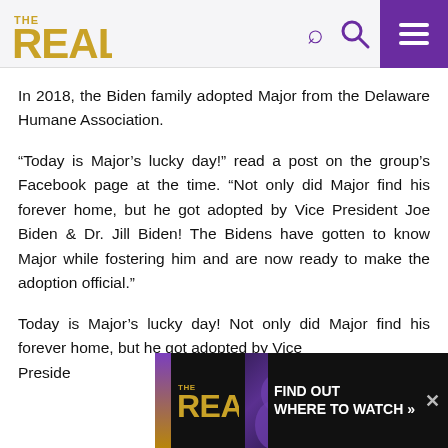THE REAL
In 2018, the Biden family adopted Major from the Delaware Humane Association.
“Today is Major’s lucky day!” read a post on the group’s Facebook page at the time. “Not only did Major find his forever home, but he got adopted by Vice President Joe Biden & Dr. Jill Biden! The Bidens have gotten to know Major while fostering him and are now ready to make the adoption official.”
Today is Major’s lucky day! Not only did Major find his forever home, but he got adopted by Vice President
[Figure (screenshot): Advertisement banner for The Real TV show at the bottom of the page, showing the show logo, hosts photo, and text 'FIND OUT WHERE TO WATCH »']